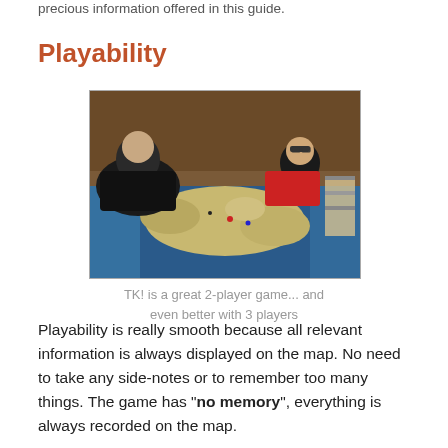precious information offered in this guide.
Playability
[Figure (photo): Two people sitting at a table playing a large board game with a map of Europe. One player is heavy-set wearing a black jacket, the other wears a black t-shirt. The board shows a large colorful map with blue seas and tan/yellow land areas with game pieces.]
TK! is a great 2-player game... and even better with 3 players
Playability is really smooth because all relevant information is always displayed on the map. No need to take any side-notes or to remember too many things. The game has "no memory", everything is always recorded on the map.